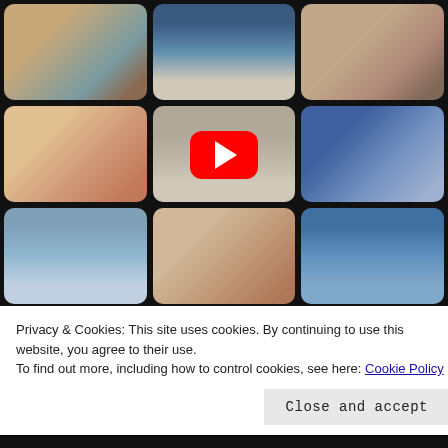[Figure (screenshot): A 3x3 grid of vintage television screens showing various blurry figures and scenes, displayed on a black background. A YouTube-style red play button is overlaid in the center of the grid.]
Privacy & Cookies: This site uses cookies. By continuing to use this website, you agree to their use.
To find out more, including how to control cookies, see here: Cookie Policy
Close and accept